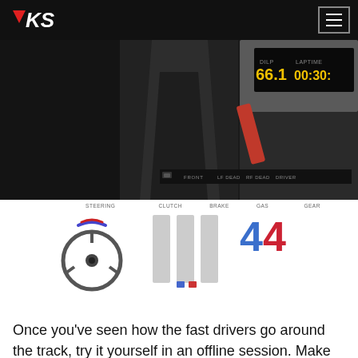VKS logo and navigation menu
[Figure (screenshot): Racing simulator cockpit view with telemetry overlay showing steering wheel, clutch/brake/gas bars, gear indicator displaying '44', DILP 66.1, LAPTIME 00:30:-, and video playback controls at 1x speed, 25%, 720p]
Once you've seen how the fast drivers go around the track, try it yourself in an offline session. Make sure that you can complete a clean lap, and then two